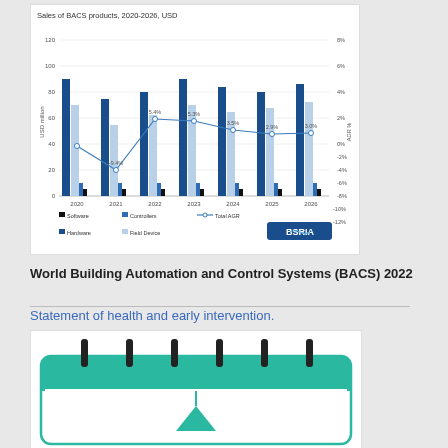[Figure (grouped-bar-chart): Sales of BACS products, 2020-2026, USD]
World Building Automation and Control Systems (BACS) 2022
Statement of health and early intervention.
[Figure (illustration): A teal/green calendar illustration with binding rings at the top and a chart/graph element at the bottom]